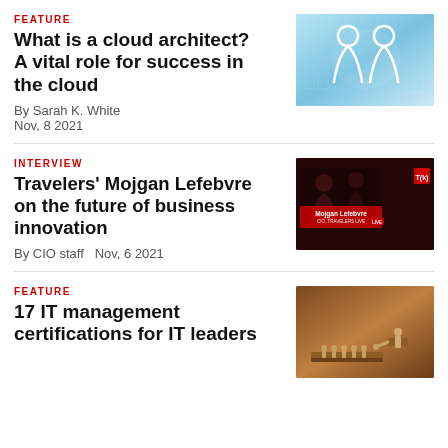FEATURE
What is a cloud architect? A vital role for success in the cloud
By Sarah K. White
Nov, 8 2021
[Figure (photo): Blue glowing silhouettes of people in a cloud/tech setting]
INTERVIEW
Travelers' Mojgan Lefebvre on the future of business innovation
By CIO staff   Nov, 6 2021
[Figure (screenshot): Video interview screenshot showing Mojgan Lefebvre with red border overlay and T(k) logo]
FEATURE
17 IT management certifications for IT leaders
[Figure (photo): Wooden figurines on wooden blocks representing leadership/management]